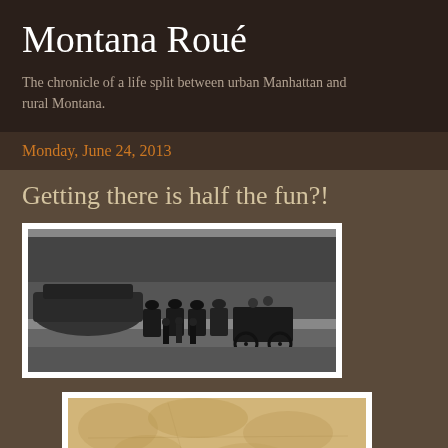Montana Roué
The chronicle of a life split between urban Manhattan and rural Montana.
Monday, June 24, 2013
Getting there is half the fun?!
[Figure (photo): Black and white historical photograph of horses with a carriage/wagon, with trees in background]
[Figure (photo): Sepia-toned photograph, partially visible at bottom of page, appears to show an outdoor landscape or map]